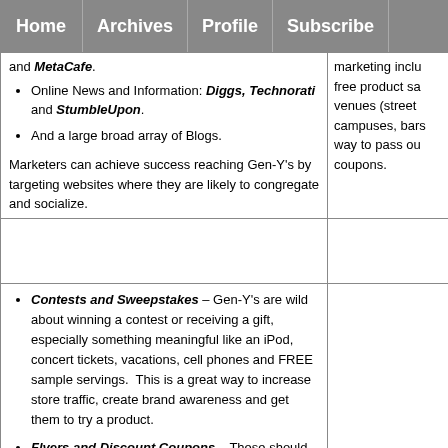Home | Archives | Profile | Subscribe
and MetaCafe.
Online News and Information: Diggs, Technorati and StumbleUpon.
And a large broad array of Blogs.
Marketers can achieve success reaching Gen-Y's by targeting websites where they are likely to congregate and socialize.
marketing inclu free product sa venues (street campuses, bars way to pass ou coupons.
Contests and Sweepstakes – Gen-Y's are wild about winning a contest or receiving a gift, especially something meaningful like an iPod, concert tickets, vacations, cell phones and FREE sample servings.  This is a great way to increase store traffic, create brand awareness and get them to try a product.
Flyers and Discount Coupons – These should be incorporated into a firm's street marketing as a way to create excitement, interest and additional traffic.